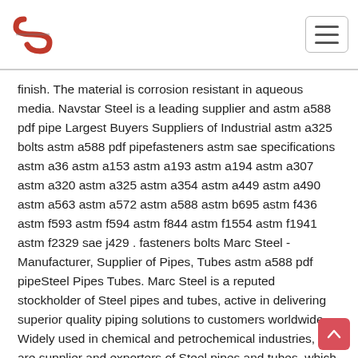Navstar Steel logo and navigation
finish. The material is corrosion resistant in aqueous media. Navstar Steel is a leading supplier and astm a588 pdf pipe Largest Buyers Suppliers of Industrial astm a325 bolts astm a588 pdf pipefasteners astm sae specifications astm a36 astm a153 astm a193 astm a194 astm a307 astm a320 astm a325 astm a354 astm a449 astm a490 astm a563 astm a572 astm a588 astm b695 astm f436 astm f593 astm f594 astm f844 astm f1554 astm f1941 astm f2329 sae j429 . fasteners bolts Marc Steel - Manufacturer, Supplier of Pipes, Tubes astm a588 pdf pipeSteel Pipes Tubes. Marc Steel is a reputed stockholder of Steel pipes and tubes, active in delivering superior quality piping solutions to customers worldwide. Widely used in chemical and petrochemical industries, we are supplier and exporters of Steel pipes and tubes, which are cost effective, reliable and have a long service life. Learn More. Mechanical performance of welds using ASTM A709 grade In this research, 20-mm-thick, modified X2CrNi12 ferritic stainless steel conforming in composition to